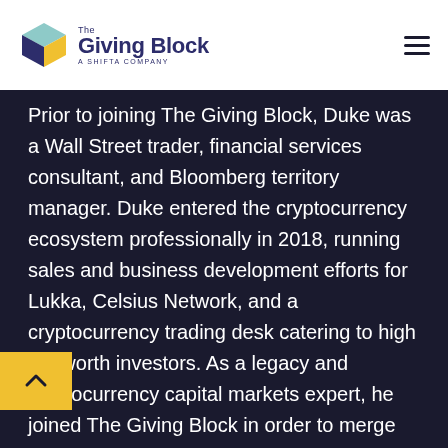The Giving Block — A Shifta Company
Prior to joining The Giving Block, Duke was a Wall Street trader, financial services consultant, and Bloomberg territory manager. Duke entered the cryptocurrency ecosystem professionally in 2018, running sales and business development efforts for Lukka, Celsius Network, and a cryptocurrency trading desk catering to high net worth investors. As a legacy and cryptocurrency capital markets expert, he joined The Giving Block in order to merge his personal and professional passions of helping others...